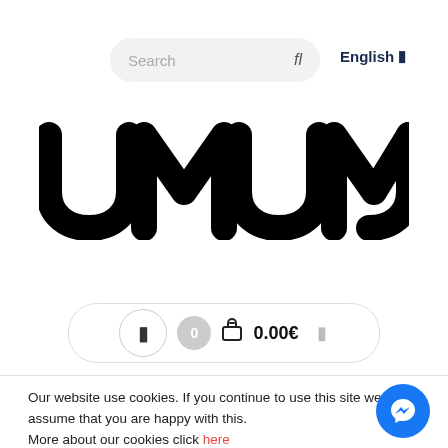[Figure (screenshot): Search bar with placeholder text 'Search' and search icon, plus 'English' language selector button]
[Figure (logo): UMUMU brand logo in large bold rounded black lettering]
[Figure (screenshot): Cart bar showing a menu button, badge with 0, basket icon, and price 0.00€]
Our website use cookies. If you continue to use this site we will assume that you are happy with this. More about our cookies click here
[Figure (screenshot): ACCEPT COOKIES button with rounded border]
[Figure (screenshot): Blue circular Messenger chat button in bottom right]